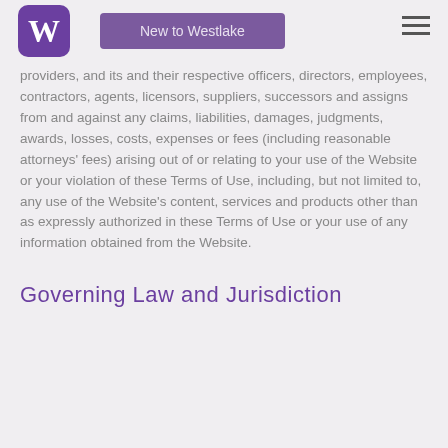New to Westlake
providers, and its and their respective officers, directors, employees, contractors, agents, licensors, suppliers, successors and assigns from and against any claims, liabilities, damages, judgments, awards, losses, costs, expenses or fees (including reasonable attorneys' fees) arising out of or relating to your use of the Website or your violation of these Terms of Use, including, but not limited to, any use of the Website's content, services and products other than as expressly authorized in these Terms of Use or your use of any information obtained from the Website.
Governing Law and Jurisdiction